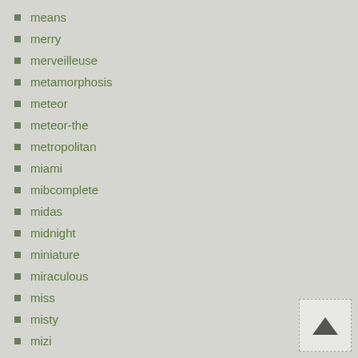means
merry
merveilleuse
metamorphosis
meteor
meteor-the
metropolitan
miami
mibcomplete
midas
midnight
miniature
miraculous
miss
misty
mizi
mizidoll
mnrfb
modern